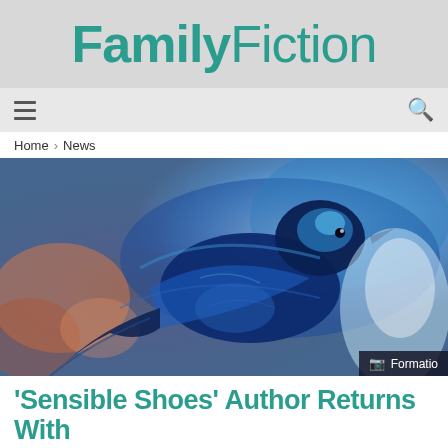FamilyFiction
[Figure (illustration): Artistic illustration of a blue bird (fairy wren) with impressionistic blue and orange brushstroke background]
Formatio
Home > News
'Sensible Shoes' Author Returns With